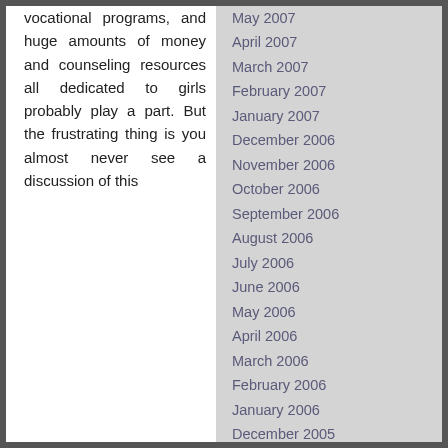vocational programs, and huge amounts of money and counseling resources all dedicated to girls probably play a part. But the frustrating thing is you almost never see a discussion of this
May 2007
April 2007
March 2007
February 2007
January 2007
December 2006
November 2006
October 2006
September 2006
August 2006
July 2006
June 2006
May 2006
April 2006
March 2006
February 2006
January 2006
December 2005
November 2005
October 2005
September 2005